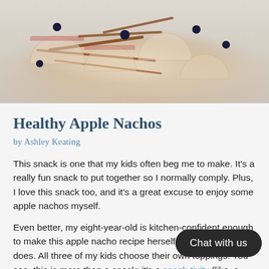[Figure (photo): Top-down photo of apple nachos with caramel drizzle and blueberries on a white plate/surface, partially cut off at top]
Healthy Apple Nachos
by Ashley Keating
This snack is one that my kids often beg me to make. It’s a really fun snack to put together so I normally comply. Plus, I love this snack too, and it’s a great excuse to enjoy some apple nachos myself.
Even better, my eight-year-old is kitchen-confident enough to make this apple nacho recipe herself and frequently does. All three of my kids choose their own toppings. You see, this is more than a snack: it’s a snack-tivity (like, a snack and an activity combined into one awesome afternoon)!